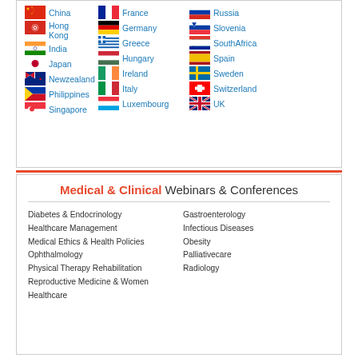[Figure (infographic): Grid of country flags with country names: China, France, Russia, Hong Kong, Germany, Slovenia, Greece, South Africa, India, Hungary, Spain, Japan, Ireland, Sweden, New Zealand, Italy, Switzerland, Philippines, Luxembourg, UK, Singapore]
Medical & Clinical Webinars & Conferences
Diabetes & Endocrinology
Gastroenterology
Healthcare Management
Infectious Diseases
Medical Ethics & Health Policies
Obesity
Ophthalmology
Palliativecare
Physical Therapy Rehabilitation
Radiology
Reproductive Medicine & Women Healthcare